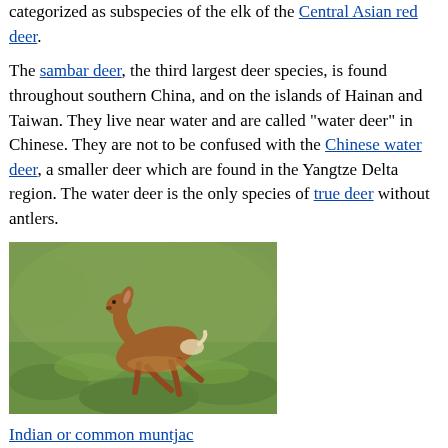categorized as subspecies of the elk of the Central Asian red deer.
The sambar deer, the third largest deer species, is found throughout southern China, and on the islands of Hainan and Taiwan. They live near water and are called "water deer" in Chinese. They are not to be confused with the Chinese water deer, a smaller deer which are found in the Yangtze Delta region. The water deer is the only species of true deer without antlers.
[Figure (photo): Photo of an Indian or common muntjac deer running through green grass]
Indian or common muntjac
[Figure (photo): Photo of a deer (likely sambar or muntjac) standing in green grass, facing left, showing antlers]